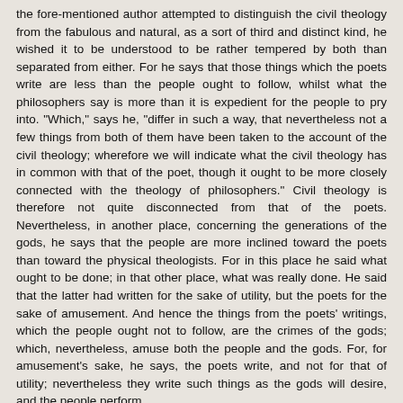the fore-mentioned author attempted to distinguish the civil theology from the fabulous and natural, as a sort of third and distinct kind, he wished it to be understood to be rather tempered by both than separated from either. For he says that those things which the poets write are less than the people ought to follow, whilst what the philosophers say is more than it is expedient for the people to pry into. "Which," says he, "differ in such a way, that nevertheless not a few things from both of them have been taken to the account of the civil theology; wherefore we will indicate what the civil theology has in common with that of the poet, though it ought to be more closely connected with the theology of philosophers." Civil theology is therefore not quite disconnected from that of the poets. Nevertheless, in another place, concerning the generations of the gods, he says that the people are more inclined toward the poets than toward the physical theologists. For in this place he said what ought to be done; in that other place, what was really done. He said that the latter had written for the sake of utility, but the poets for the sake of amusement. And hence the things from the poets' writings, which the people ought not to follow, are the crimes of the gods; which, nevertheless, amuse both the people and the gods. For, for amusement's sake, he says, the poets write, and not for that of utility; nevertheless they write such things as the gods will desire, and the people perform.
Chapter 7.--Concerning the Likeness and Agreement of the Fabulous and Civil Theologies.
That theology, therefore, which is fabulous, theatrical, scenic, and full